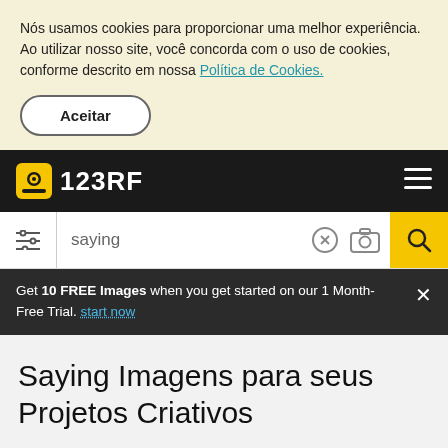Nós usamos cookies para proporcionar uma melhor experiência. Ao utilizar nosso site, você concorda com o uso de cookies, conforme descrito em nossa Política de Cookies.
Aceitar
123RF
saying
Get 10 FREE Images when you get started on our 1 Month-Free Trial. start now
Saying Imagens para seus Projetos Criativos